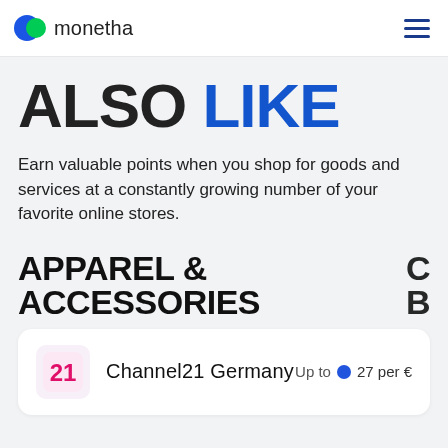monetha
ALSO LIKE
Earn valuable points when you shop for goods and services at a constantly growing number of your favorite online stores.
APPAREL & ACCESSORIES
Channel21 Germany — Up to 27 per €